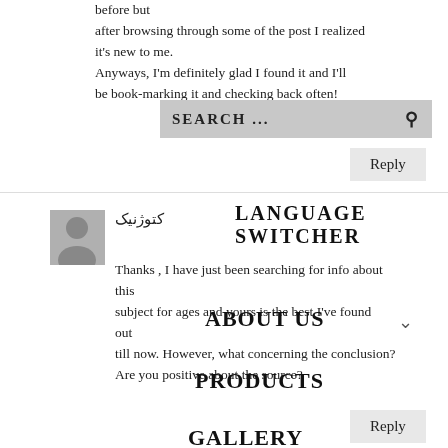before but after browsing through some of the post I realized it's new to me. Anyways, I'm definitely glad I found it and I'll be book-marking it and checking back often!
SEARCH ...
0 ITEMS
Reply
[Figure (illustration): User avatar placeholder — gray silhouette]
کتوژنیک
LANGUAGE SWITCHER
Thanks , I have just been searching for info about this subject for ages and yours is the best I've found out till now. However, what concerning the conclusion? Are you positive about the source?
ABOUT US
PRODUCTS
GALLERY
Reply